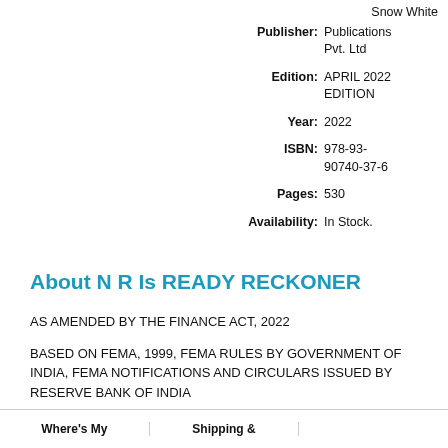Snow White
Publisher: Publications Pvt. Ltd
Edition: APRIL 2022 EDITION
Year: 2022
ISBN: 978-93-90740-37-6
Pages: 530
Availability: In Stock.
About N R Is READY RECKONER
AS AMENDED BY THE FINANCE ACT, 2022
BASED ON FEMA, 1999, FEMA RULES BY GOVERNMENT OF INDIA, FEMA NOTIFICATIONS AND CIRCULARS ISSUED BY RESERVE BANK OF INDIA
Where's My | Shipping & | ...